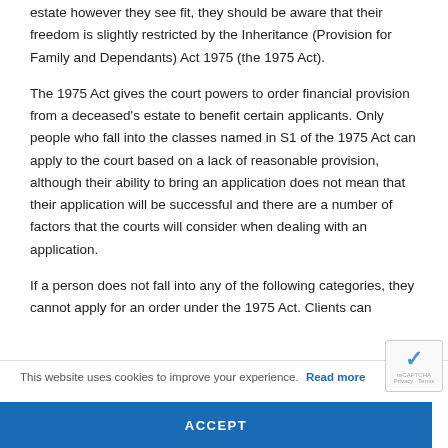estate however they see fit, they should be aware that their freedom is slightly restricted by the Inheritance (Provision for Family and Dependants) Act 1975 (the 1975 Act).
The 1975 Act gives the court powers to order financial provision from a deceased's estate to benefit certain applicants. Only people who fall into the classes named in S1 of the 1975 Act can apply to the court based on a lack of reasonable provision, although their ability to bring an application does not mean that their application will be successful and there are a number of factors that the courts will consider when dealing with an application.
If a person does not fall into any of the following categories, they cannot apply for an order under the 1975 Act. Clients can
This website uses cookies to improve your experience. Read more
ACCEPT